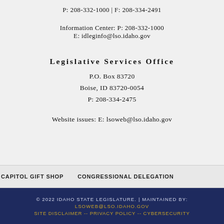P: 208-332-1000 | F: 208-334-2491
Information Center: P: 208-332-1000
E: idleginfo@lso.idaho.gov
Legislative Services Office
P.O. Box 83720
Boise, ID 83720-0054
P: 208-334-2475
Website issues: E: lsoweb@lso.idaho.gov
CAPITOL GIFT SHOP    CONGRESSIONAL DELEGATION
© 2022 IDAHO STATE LEGISLATURE. | MAINTAINED BY: LSOWEB@LSO.IDAHO.GOV
SITE DISCLAIMER -- PRIVACY POLICY -- CYBERSECURITY